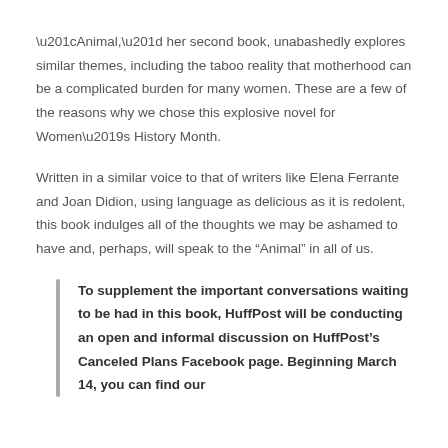“Animal,” her second book, unabashedly explores similar themes, including the taboo reality that motherhood can be a complicated burden for many women. These are a few of the reasons why we chose this explosive novel for Women’s History Month.
Written in a similar voice to that of writers like Elena Ferrante and Joan Didion, using language as delicious as it is redolent, this book indulges all of the thoughts we may be ashamed to have and, perhaps, will speak to the “Animal” in all of us.
To supplement the important conversations waiting to be had in this book, HuffPost will be conducting an open and informal discussion on HuffPost’s Canceled Plans Facebook page. Beginning March 14, you can find our